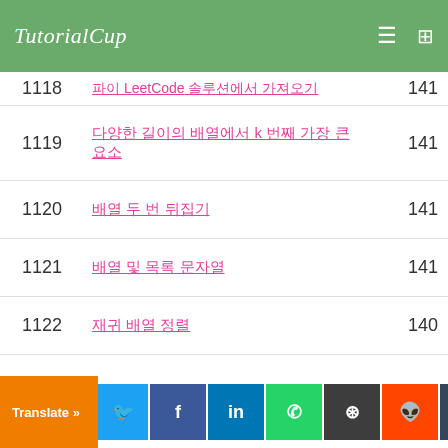TutorialCup
| # | Title | Views |
| --- | --- | --- |
| 1119 | 다양한 길이의 배열에서 k 번째 가장 큰 요소 | 141 |
| 1120 | 배열 두 번 뒤집기 | 141 |
| 1121 | 배열 및 목록 문자열 | 141 |
| 1122 | 재귀 배열 정렬 | 140 |
| 1123 | 동적 프로그래밍 Leetcode 솔루션 | 140 |
| 1124 | 파이 LeetCode 솔루션에서 두 가지 방법을 알아보기 | 140 |
| 1125 | 파이썬 다양한 언어로 두 문자열 패딩 인쇄 | 140 |